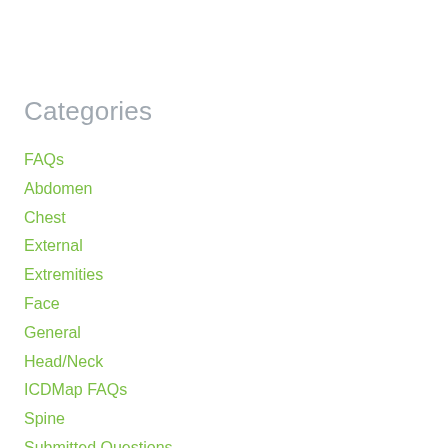Categories
FAQs
Abdomen
Chest
External
Extremities
Face
General
Head/Neck
ICDMap FAQs
Spine
Submitted Questions